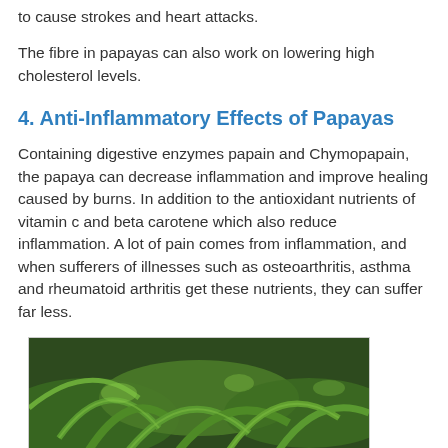to cause strokes and heart attacks.
The fibre in papayas can also work on lowering high cholesterol levels.
4. Anti-Inflammatory Effects of Papayas
Containing digestive enzymes papain and Chymopapain, the papaya can decrease inflammation and improve healing caused by burns. In addition to the antioxidant nutrients of vitamin c and beta carotene which also reduce inflammation. A lot of pain comes from inflammation, and when sufferers of illnesses such as osteoarthritis, asthma and rheumatoid arthritis get these nutrients, they can suffer far less.
[Figure (photo): Close-up photo of green tropical leaves, likely papaya plant foliage]